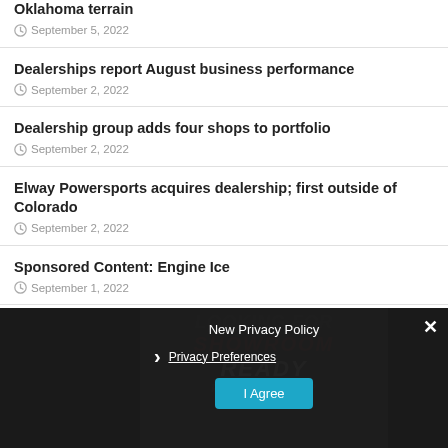Oklahoma terrain
September 5, 2022
Dealerships report August business performance
September 2, 2022
Dealership group adds four shops to portfolio
September 2, 2022
Elway Powersports acquires dealership; first outside of Colorado
September 2, 2022
Sponsored Content: Engine Ice
September 1, 2022
[Figure (screenshot): Dark background advertisement area with overlaid cookie consent banner. Banner shows 'New Privacy Policy', a right-arrow chevron, 'Privacy Preferences' link, and 'I Agree' blue button. A white × close button appears top-right of the dark section.]